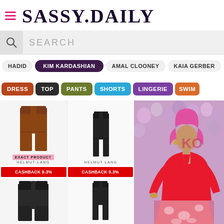SASSY.DAILY
SEARCH
HADID
KIM KARDASHIAN
AMAL CLOONEY
KAIA GERBER
DRESS
TOP
PANTS
SHORTS
LINGERIE
SWIM
[Figure (photo): Brown leather straight-leg pants product image]
EXACT PRODUCT
HELMUT-LANG
[Figure (photo): Black leather skinny pants product image]
HELMUT LANG
CASHBACK 9.3%
CASHBACK 9.3%
[Figure (photo): Black leather wide-leg trousers product image]
[Figure (photo): Black leather skinny pants product image (second set)]
[Figure (photo): Kim Kardashian in pink/red outfit at event with balloon backdrop]